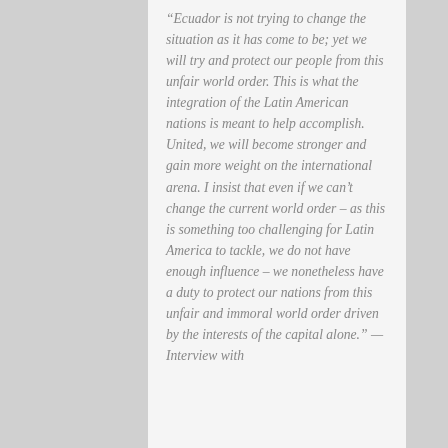“Ecuador is not trying to change the situation as it has come to be; yet we will try and protect our people from this unfair world order. This is what the integration of the Latin American nations is meant to help accomplish. United, we will become stronger and gain more weight on the international arena. I insist that even if we can’t change the current world order – as this is something too challenging for Latin America to tackle, we do not have enough influence – we nonetheless have a duty to protect our nations from this unfair and immoral world order driven by the interests of the capital alone.” — Interview with